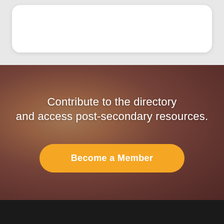[Figure (photo): Background photo of two elderly people viewed from behind, walking outdoors; warm-toned with a purple-brown overlay. Text overlay reads 'Contribute to the directory and access post-secondary resources.' with a yellow 'Become a Member' button.]
Contribute to the directory and access post-secondary resources.
Become a Member